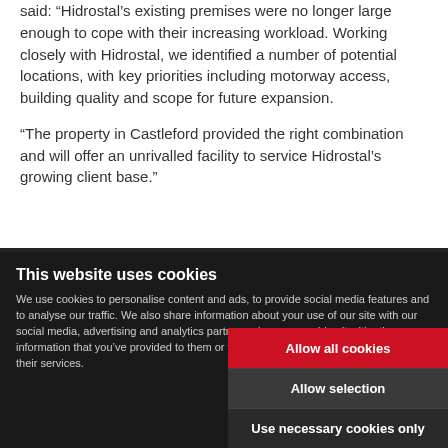said: “Hidrostal’s existing premises were no longer large enough to cope with their increasing workload. Working closely with Hidrostal, we identified a number of potential locations, with key priorities including motorway access, building quality and scope for future expansion.

“The property in Castleford provided the right combination and will offer an unrivalled facility to service Hidrostal’s growing client base.”
This website uses cookies
We use cookies to personalise content and ads, to provide social media features and to analyse our traffic. We also share information about your use of our site with our social media, advertising and analytics partners who may combine it with other information that you’ve provided to them or that they’ve collected from your use of their services.
Allow all cookies
Allow selection
Use necessary cookies only